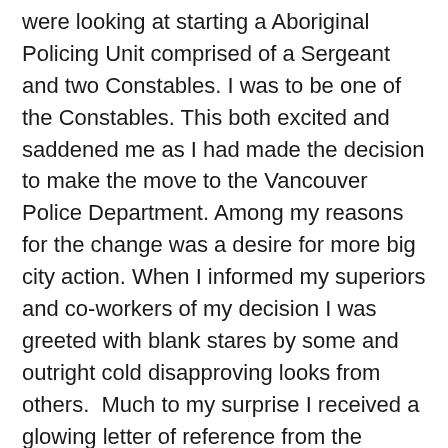were looking at starting a Aboriginal Policing Unit comprised of a Sergeant and two Constables. I was to be one of the Constables. This both excited and saddened me as I had made the decision to make the move to the Vancouver Police Department. Among my reasons for the change was a desire for more big city action. When I informed my superiors and co-workers of my decision I was greeted with blank stares by some and outright cold disapproving looks from others.  Much to my surprise I received a glowing letter of reference from the Sergeant of my Watch.
I began my time in the VPD assigned to District 4 Team 6. District 4 encompasses the Musqueam Indian Reserve. It was a different energy with the VPD; fast paced and colorful personalities.